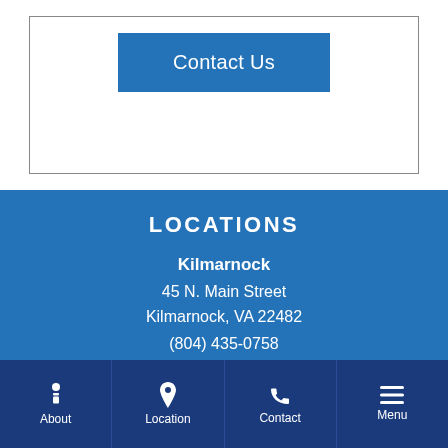Contact Us
LOCATIONS
Kilmarnock
45 N. Main Street
Kilmarnock, VA 22482
(804) 435-0758
About | Location | Contact | Menu